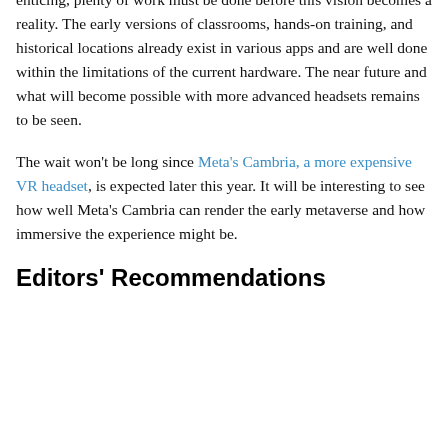enticing, plenty of work must be done before this vision becomes a reality. The early versions of classrooms, hands-on training, and historical locations already exist in various apps and are well done within the limitations of the current hardware. The near future and what will become possible with more advanced headsets remains to be seen.
The wait won't be long since Meta's Cambria, a more expensive VR headset, is expected later this year. It will be interesting to see how well Meta's Cambria can render the early metaverse and how immersive the experience might be.
Editors' Recommendations